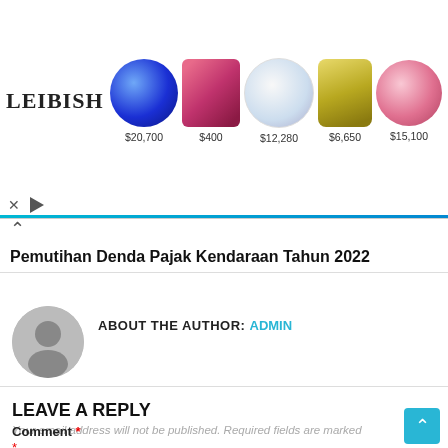[Figure (infographic): Leibish jewelry advertisement banner showing 5 gemstones with prices: blue sapphire $20,700, pink/red emerald cut $400, diamond ring $12,280, yellow cushion cut $6,650, pink oval $15,100. Leibish logo on left.]
Pemutihan Denda Pajak Kendaraan Tahun 2022
ABOUT THE AUTHOR: ADMIN
LEAVE A REPLY
Your email address will not be published. Required fields are marked *
Comment *